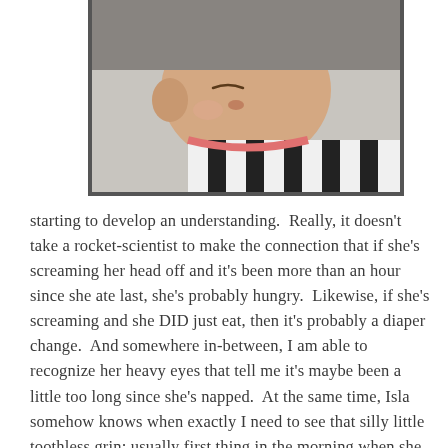[Figure (photo): A baby lying down wearing a black and white striped top with a pink collar, with a blue hair accessory, eyes closed or looking sideways, photographed from above.]
starting to develop an understanding.  Really, it doesn't take a rocket-scientist to make the connection that if she's screaming her head off and it's been more than an hour since she ate last, she's probably hungry.  Likewise, if she's screaming and she DID just eat, then it's probably a diaper change.  And somewhere in-between, I am able to recognize her heavy eyes that tell me it's maybe been a little too long since she's napped.  At the same time, Isla somehow knows when exactly I need to see that silly little toothless grin; usually first thing in the morning when she wakes up or late at